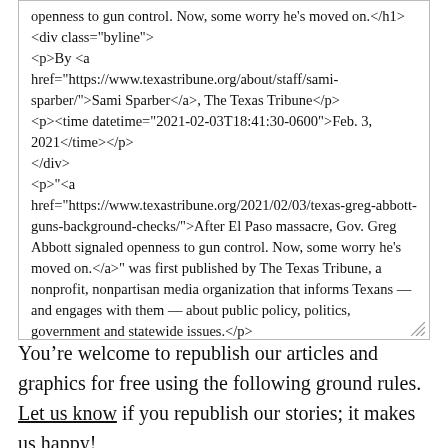[Figure (screenshot): A scrollable text box showing raw HTML source code of a Texas Tribune article about Gov. Greg Abbott and gun control, including heading, byline, date, and article text in HTML markup.]
You’re welcome to republish our articles and graphics for free using the following ground rules. Let us know if you republish our stories; it makes us happy!